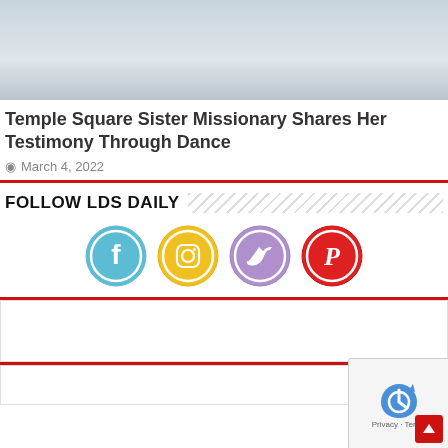[Figure (photo): Photo of a person in dark clothing standing in a snowy or sandy outdoor setting, cropped at top]
Temple Square Sister Missionary Shares Her Testimony Through Dance
March 4, 2022
FOLLOW LDS DAILY
[Figure (infographic): Social media icons: Facebook (blue circle), Instagram (yellow circle), Twitter (purple circle), Pinterest (red circle)]
[Figure (other): reCAPTCHA badge with Privacy and Terms links, and a red back-to-top arrow button]